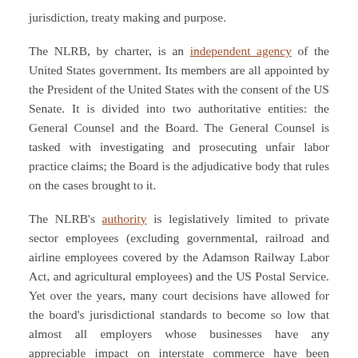jurisdiction, treaty making and purpose.
The NLRB, by charter, is an independent agency of the United States government. Its members are all appointed by the President of the United States with the consent of the US Senate. It is divided into two authoritative entities: the General Counsel and the Board. The General Counsel is tasked with investigating and prosecuting unfair labor practice claims; the Board is the adjudicative body that rules on the cases brought to it.
The NLRB's authority is legislatively limited to private sector employees (excluding governmental, railroad and airline employees covered by the Adamson Railway Labor Act, and agricultural employees) and the US Postal Service. Yet over the years, many court decisions have allowed for the board's jurisdictional standards to become so low that almost all employers whose businesses have any appreciable impact on interstate commerce have been absorbed into the its purview, rightly or not.